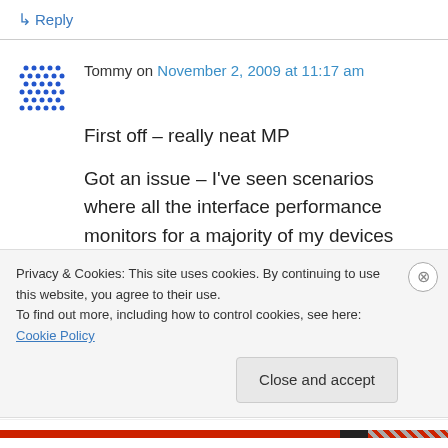↳ Reply
Tommy on November 2, 2009 at 11:17 am
First off – really neat MP
Got an issue – I've seen scenarios where all the interface performance monitors for a majority of my devices disappear, sometimes for days at a time, then re-appear. One of my co-workers is piloting OpenNMS and he's not seeing anything
Privacy & Cookies: This site uses cookies. By continuing to use this website, you agree to their use.
To find out more, including how to control cookies, see here: Cookie Policy
Close and accept